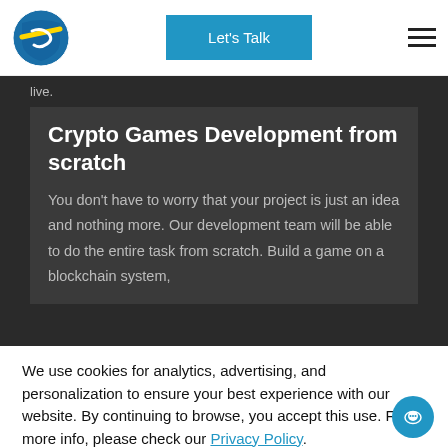[Figure (logo): Blue and yellow shield logo with arrow/S shape]
Let's Talk
live.
Crypto Games Development from scratch
You don't have to worry that your project is just an idea and nothing more. Our development team will be able to do the entire task from scratch. Build a game on a blockchain system,
We use cookies for analytics, advertising, and personalization to ensure your best experience with our website. By continuing to browse, you accept this use. For more info, please check our Privacy Policy.
Agree